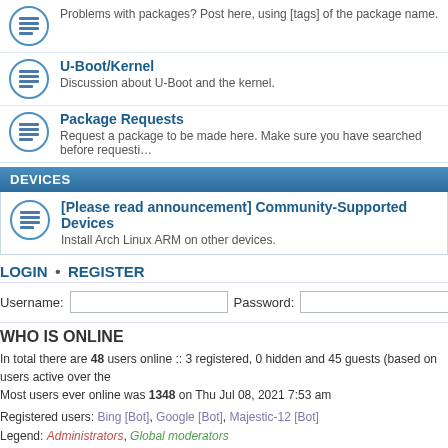Problems with packages? Post here, using [tags] of the package name.
U-Boot/Kernel
Discussion about U-Boot and the kernel.
Package Requests
Request a package to be made here. Make sure you have searched before requesting.
DEVICES
[Please read announcement] Community-Supported Devices
Install Arch Linux ARM on other devices.
LOGIN • REGISTER
Username:  Password:  | L
WHO IS ONLINE
In total there are 48 users online :: 3 registered, 0 hidden and 45 guests (based on users active over the last 5 minutes)
Most users ever online was 1348 on Thu Jul 08, 2021 7:53 am
Registered users: Bing [Bot], Google [Bot], Majestic-12 [Bot]
Legend: Administrators, Global moderators
STATISTICS
Total posts 58553 • Total topics 11293 • Total members 12213 • Our newest member zimmy
Board index